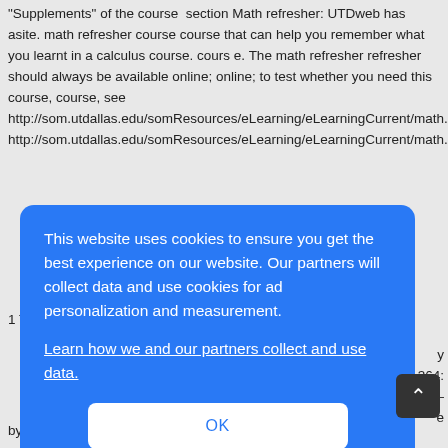"Supplements" of the course section Math refresher: UTDweb has asite. math refresher course course that can help you remember what you learnt in a calculus course. cours e. The math refresher refresher should always be available online; online; to test whether you need this course, course, see http://som.utdallas.edu/somResources/eLearning/eLearningCurrent/math.ph http://som.utdallas.edu/somResources/eLearning/eLearningCurrent/math.ph
1 This
[Figure (screenshot): Cookie consent overlay dialog in blue with text 'This website uses cookies to ensure you get the best experience on our website. Our partners will collect data and use cookies for ad personalization and measurement.' with a 'Learn how we and our partners collect and use data.' link and an OK button.]
by Prof. Metin C akanyıldırım in Falls and Springs. – OPRE